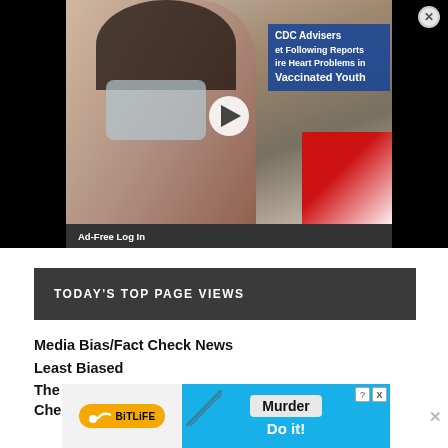[Figure (screenshot): Video thumbnail showing a person wearing a mask receiving a vaccine, with overlay text reading 'CDC Advisers et Following Reports ire Heart Problems in Vaccinated Youth'. A play button is visible in the center. A close button (X) is in the top right corner.]
Ad-Free Log In
TODAY'S TOP PAGE VIEWS
Media Bias/Fact Check News
Least Biased
The Latest Fact Checks curated by Media Bias Fact Check 08/24/2022
[Figure (screenshot): BitLife advertisement banner with orange logo on left and blue background on right showing 'Murder Do it!' text]